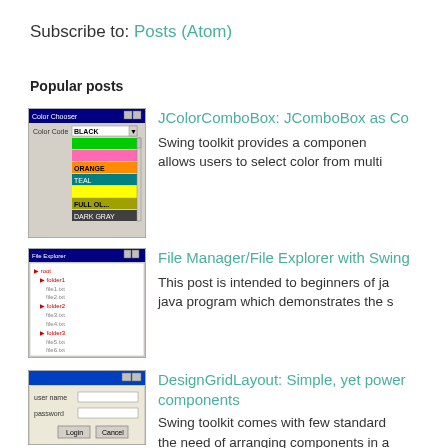Subscribe to: Posts (Atom)
Popular posts
[Figure (screenshot): Screenshot of JColorComboBox showing color list with colored labels (BLACK, green, pink, ORANGE, TEAL, yellow, DARK GRAY)]
JColorComboBox: JComboBox as Co... Swing toolkit provides a component... allows users to select color from multi...
[Figure (screenshot): Screenshot of a File Manager/File Explorer application built with Swing, showing a tree view of files]
File Manager/File Explorer with Swing... This post is intended to beginners of ja... java program which demonstrates the s...
[Figure (screenshot): Screenshot of a DesignGridLayout login form with user name, password fields and Login/Cancel buttons]
DesignGridLayout: Simple, yet power... components Swing toolkit comes with few standard... the need of arranging components in a...